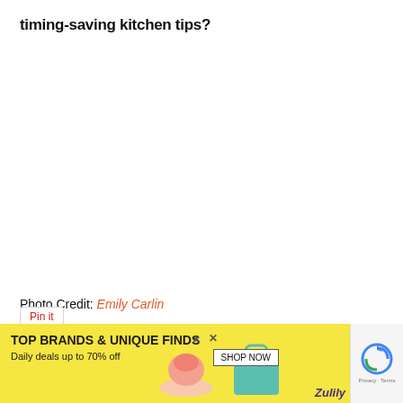timing-saving kitchen tips?
Photo Credit: Emily Carlin
[Figure (screenshot): Large white/blank space where an image would appear (image not loaded)]
[Figure (screenshot): Pin It button UI element]
[Figure (screenshot): Zulily advertisement banner: TOP BRANDS & UNIQUE FINDS, Daily deals up to 70% off, with SHOP NOW button, shoes and handbag images, Zulily logo, and reCAPTCHA element]